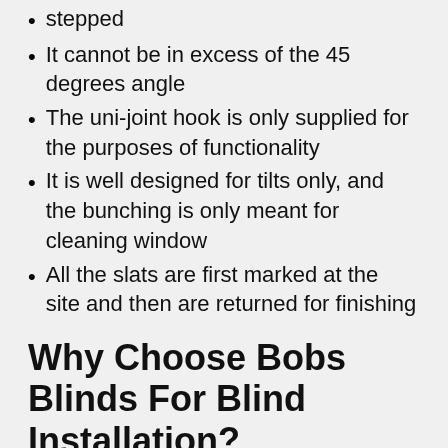stepped
It cannot be in excess of the 45 degrees angle
The uni-joint hook is only supplied for the purposes of functionality
It is well designed for tilts only, and the bunching is only meant for cleaning window
All the slats are first marked at the site and then are returned for finishing
Why Choose Bobs Blinds For Blind Installation?
Guaranteed Service and Products: – We at Bobs Blinds believe in providing its customers with superb quality products and service. We guarantee you that you will be delivered with quality products with no compromise at all